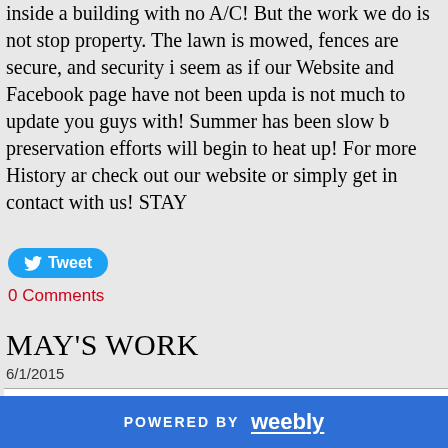inside a building with no A/C! But the work we do is not stop property. The lawn is mowed, fences are secure, and security i seem as if our Website and Facebook page have not been upda is not much to update you guys with! Summer has been slow b preservation efforts will begin to heat up! For more History ar check out our website or simply get in contact with us! STAY
Tweet
0 Comments
MAY'S WORK
6/1/2015
The month of May was another e
POWERED BY weebly